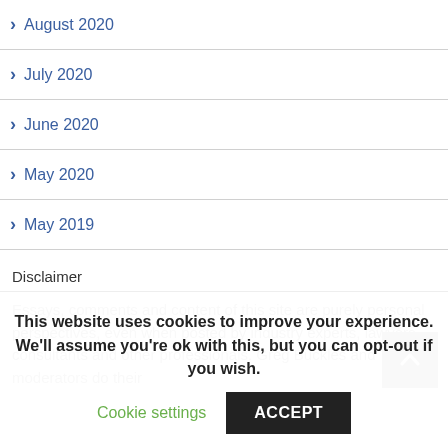August 2020
July 2020
June 2020
May 2020
May 2019
Disclaimer
Essays, comments and content of this site are purely personal perspectives, even when posted by industry experts, lawyers, consultants and other professionals. Greg Buckles and moderators do their
This website uses cookies to improve your experience. We'll assume you're ok with this, but you can opt-out if you wish.
Cookie settings    ACCEPT